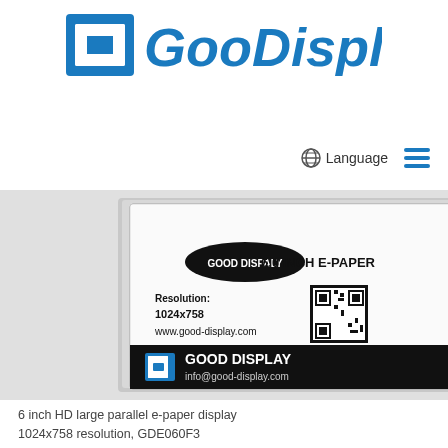[Figure (logo): GooDisplay logo with blue square icon and blue bold italic text 'GooDisplay']
Language
[Figure (photo): 6 inch e-paper display module showing label with 'GOOD DISPLAY 6.0 INCH E-PAPER', Resolution: 1024x758, www.good-display.com, QR code, and flexible ribbon cable on the right side]
6 inch HD large parallel e-paper display 1024x758 resolution, GDE060F3